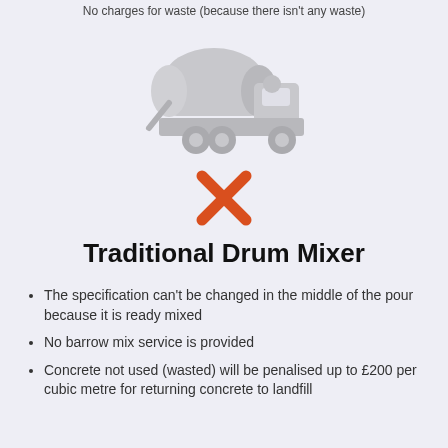No charges for waste (because there isn't any waste)
[Figure (illustration): Grey concrete mixer truck icon on light purple background]
[Figure (other): Orange X mark (cross symbol)]
Traditional Drum Mixer
The specification can't be changed in the middle of the pour because it is ready mixed
No barrow mix service is provided
Concrete not used (wasted) will be penalised up to £200 per cubic metre for returning concrete to landfill